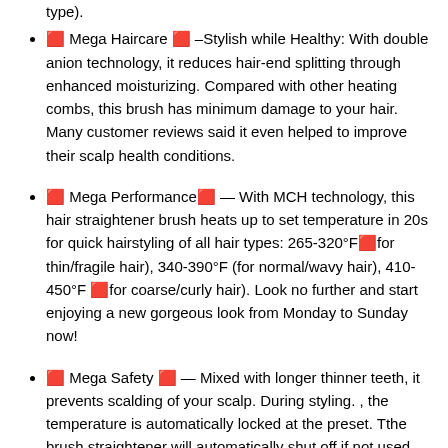⬛ Mega Haircare ⬛ –Stylish while Healthy: With double anion technology, it reduces hair-end splitting through enhanced moisturizing. Compared with other heating combs, this brush has minimum damage to your hair. Many customer reviews said it even helped to improve their scalp health conditions.
⬛ Mega Performance⬛ — With MCH technology, this hair straightener brush heats up to set temperature in 20s for quick hairstyling of all hair types: 265-320°F⬛for thin/fragile hair), 340-390°F (for normal/wavy hair), 410-450°F ⬛for coarse/curly hair). Look no further and start enjoying a new gorgeous look from Monday to Sunday now!
⬛ Mega Safety ⬛ — Mixed with longer thinner teeth, it prevents scalding of your scalp. During styling. , the temperature is automatically locked at the preset. Tthe brush straightener will automatically shut off if not used for